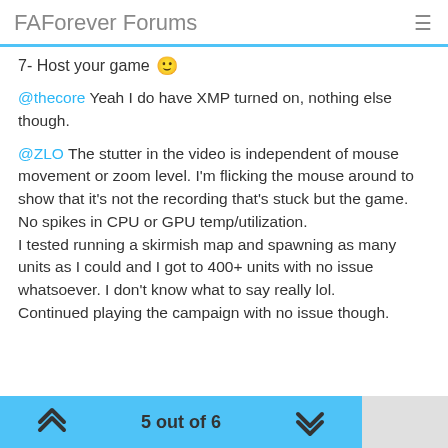FAForever Forums
7- Host your game 🙂
@thecore Yeah I do have XMP turned on, nothing else though.
@ZLO The stutter in the video is independent of mouse movement or zoom level. I'm flicking the mouse around to show that it's not the recording that's stuck but the game. No spikes in CPU or GPU temp/utilization.
I tested running a skirmish map and spawning as many units as I could and I got to 400+ units with no issue whatsoever. I don't know what to say really lol.
Continued playing the campaign with no issue though.
4  6  171  Log in to reply
5 out of 6